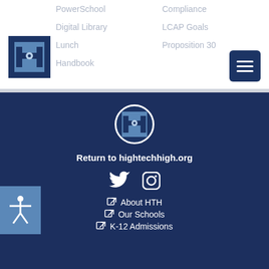[Figure (logo): High Tech High logo — dark blue square with blue rectangle and stylized H with circle]
PowerSchool
Digital Library
Lunch
Handbook
Compliance
LCAP Goals
Proposition 30
[Figure (illustration): Navigation menu button (hamburger icon) — dark navy square with three white horizontal lines]
[Figure (logo): High Tech High circular footer logo on dark navy background]
Return to hightechhigh.org
[Figure (illustration): Twitter and Instagram social media icons in white]
About HTH
Our Schools
K-12 Admissions
[Figure (illustration): Accessibility icon button — blue square with white person figure with arms extended]